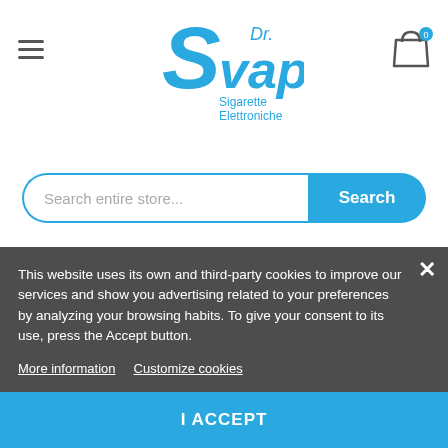[Figure (logo): Dr. Svapo Sigarette Elettroniche logo in blue]
Search entire store...
Search
This website uses its own and third-party cookies to improve our services and show you advertising related to your preferences by analyzing your browsing habits. To give your consent to its use, press the Accept button.
More information   Customize cookies
I ACCEPT